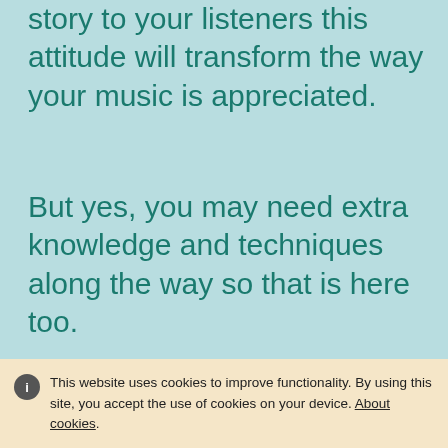story to your listeners this attitude will transform the way your music is appreciated.
But yes, you may need extra knowledge and techniques along the way so that is here too.
[Figure (screenshot): Advertisement banner: YOUR OWN PICTURE ON A MUG £6.50 with colorful images and a navigation arrow]
On this free website accordionists can expand your playing ideas with new and established tips, tricks, techniques and musical principles to sound even better
This website uses cookies to improve functionality. By using this site, you accept the use of cookies on your device. About cookies.